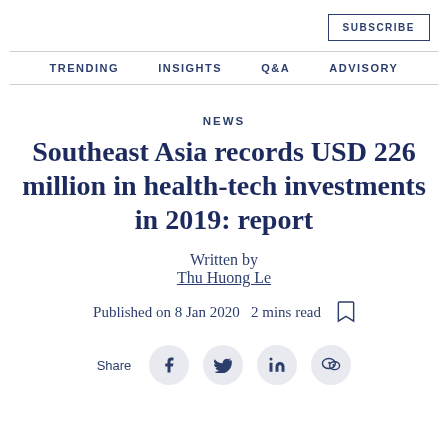SUBSCRIBE
TRENDING   INSIGHTS   Q&A   ADVISORY
NEWS
Southeast Asia records USD 226 million in health-tech investments in 2019: report
Written by Thu Huong Le
Published on 8 Jan 2020  2 mins read
Share